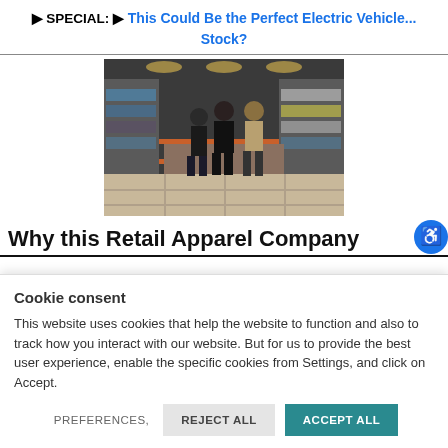▶ SPECIAL: ▶ This Could Be the Perfect Electric Vehicle... Stock?
[Figure (photo): People walking inside a retail apparel store with shelves of clothing and merchandise in the background]
Why this Retail Apparel Company
Cookie consent
This website uses cookies that help the website to function and also to track how you interact with our website. But for us to provide the best user experience, enable the specific cookies from Settings, and click on Accept.
PREFERENCES,   REJECT ALL   ACCEPT ALL